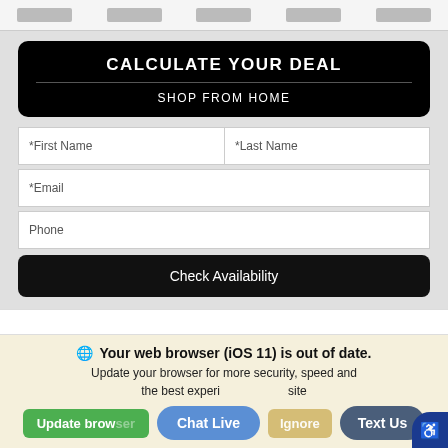[Figure (screenshot): Top strip with partially visible logo placeholders on a light gray background]
CALCULATE YOUR DEAL
SHOP FROM HOME
*First Name
*Last Name
*Email
Phone
Check Availability
[Figure (screenshot): Empty white content area below the form]
Your web browser (iOS 11) is out of date.
Update your browser for more security, speed and the best experience on this site.
Update browser
Ignore
Chat Live
Text Us